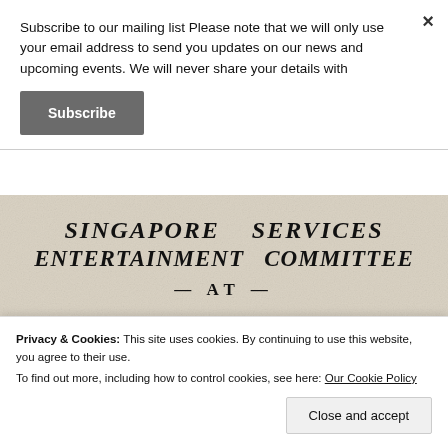Subscribe to our mailing list Please note that we will only use your email address to send you updates on our news and upcoming events. We will never share your details with
Subscribe
[Figure (photo): Scanned historical document showing 'SINGAPORE SERVICES ENTERTAINMENT COMMITTEE — AT — CLUSTER BARRACKS' in bold italic serif text on aged/grainy paper background]
Privacy & Cookies: This site uses cookies. By continuing to use this website, you agree to their use.
To find out more, including how to control cookies, see here: Our Cookie Policy
Close and accept